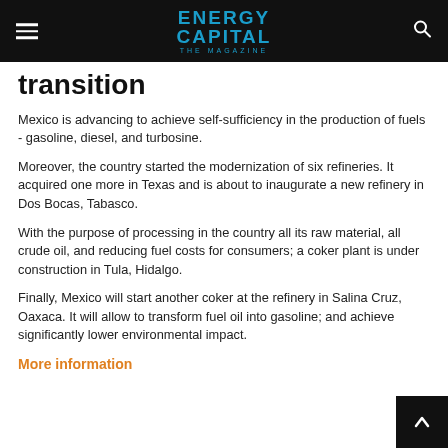ENERGY CAPITAL THE MAGAZINE
transition
Mexico is advancing to achieve self-sufficiency in the production of fuels - gasoline, diesel, and turbosine.
Moreover, the country started the modernization of six refineries. It acquired one more in Texas and is about to inaugurate a new refinery in Dos Bocas, Tabasco.
With the purpose of processing in the country all its raw material, all crude oil, and reducing fuel costs for consumers; a coker plant is under construction in Tula, Hidalgo.
Finally, Mexico will start another coker at the refinery in Salina Cruz, Oaxaca. It will allow to transform fuel oil into gasoline; and achieve significantly lower environmental impact.
More information